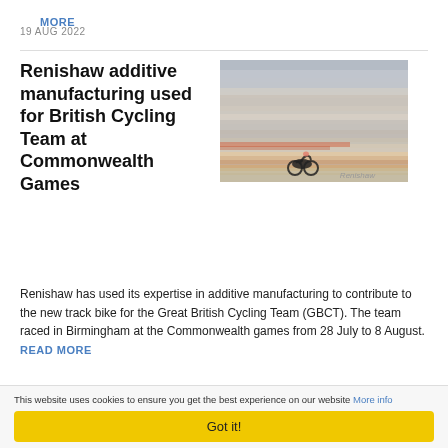MORE
19 AUG 2022
Renishaw additive manufacturing used for British Cycling Team at Commonwealth Games
[Figure (photo): A blurred motion photograph of a cyclist on a track bike, with horizontal motion blur streaks in muted grey, beige and orange tones. A Renishaw watermark appears in the bottom right.]
Renishaw has used its expertise in additive manufacturing to contribute to the new track bike for the Great British Cycling Team (GBCT). The team raced in Birmingham at the Commonwealth games from 28 July to 8 August. READ MORE
This website uses cookies to ensure you get the best experience on our website More info
Got it!